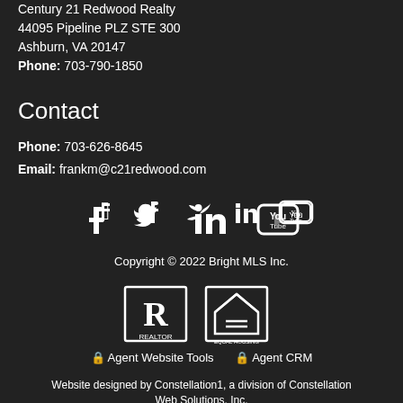Century 21 Redwood Realty
44095 Pipeline PLZ STE 300
Ashburn, VA 20147
Phone: 703-790-1850
Contact
Phone: 703-626-8645
Email: frankm@c21redwood.com
[Figure (other): Social media icons: Facebook, Twitter, LinkedIn, YouTube]
Copyright © 2022 Bright MLS Inc.
[Figure (logo): Realtor logo and Equal Housing Opportunity logo]
🔒 Agent Website Tools   🔒 Agent CRM
Website designed by Constellation1, a division of Constellation Web Solutions, Inc.